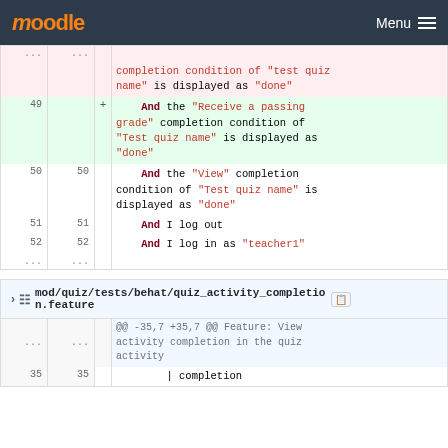moodle  Menu
[Figure (screenshot): Code diff view showing lines from a Moodle Behat feature file. Red background rows show removed lines about completion condition of 'test quiz name' displayed as 'done'. Green background row 49 shows added line: And the 'Receive a passing grade' completion condition of 'Test quiz name' is displayed as 'done'. Lines 50, 51, 52 show neutral rows with And the 'View' completion condition, And I log out, And I log in as 'teacher1'. Ellipsis rows at top and bottom.]
[Figure (screenshot): File header showing mod/quiz/tests/behat/quiz_activity_completion.feature with diff context @@ -35,7 +35,7 @@ Feature: View activity completion in the quiz activity. Line 35 shows | completion.]